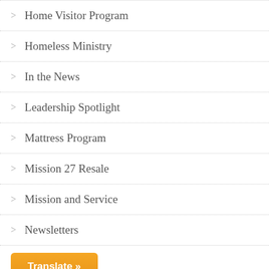> Home Visitor Program
> Homeless Ministry
> In the News
> Leadership Spotlight
> Mattress Program
> Mission 27 Resale
> Mission and Service
> Newsletters
Translate »